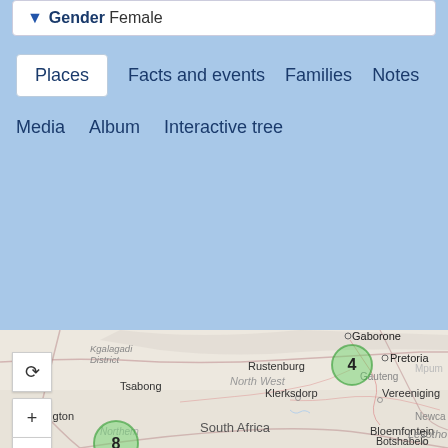Gender Female
Places
Facts and events
Families
Notes
Media
Album
Interactive tree
[Figure (map): Map of South Africa and surrounding region showing Gaborone, Kgalagadi District, Tsabong, Rustenburg, Pretoria, Mpumalanga, North West, Klerksdorp, Vereeniging, Upington, Northern Cape, South Africa, Bloemfontein, Botshabelo, Lesotho, Newcastle. Two green cluster markers: one near Pretoria labeled 4, one in Northern Cape labeled 8.]